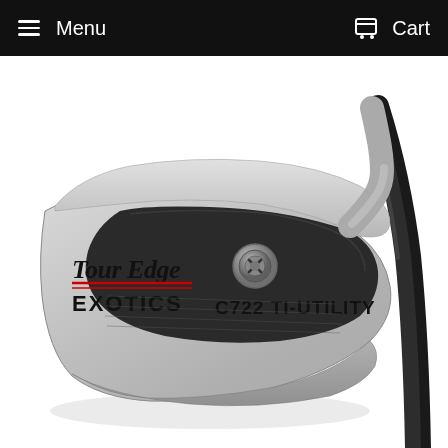≡ Menu   Cart
[Figure (photo): Tour Edge Exotics C722 Ti-Utility golf iron club head, silver/chrome finish with dark face insert, adjustable weight screw visible, showing 'Tour Edge EXOTICS' logo and 'C722 TI-UTILITY' text on the club face, with black graphite shaft visible at right, photographed against white background.]